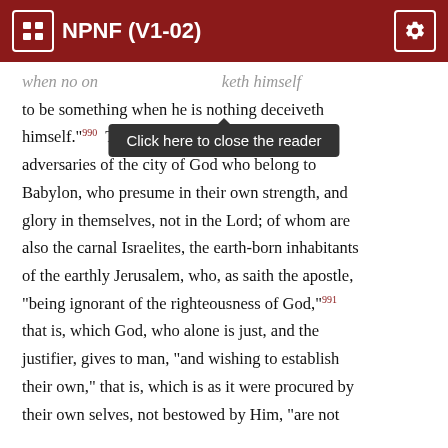NPNF (V1-02)
when no one ... thinketh himself to be something when he is nothing deceiveth himself.”¹⁹⁹⁰  These things are said to the adversaries of the city of God who belong to Babylon, who presume in their own strength, and glory in themselves, not in the Lord; of whom are also the carnal Israelites, the earth-born inhabitants of the earthly Jerusalem, who, as saith the apostle, “being ignorant of the righteousness of God,”¹⁹⁹¹ that is, which God, who alone is just, and the justifier, gives to man, “and wishing to establish their own,” that is, which is as it were procured by their own selves, not bestowed by Him, “are not